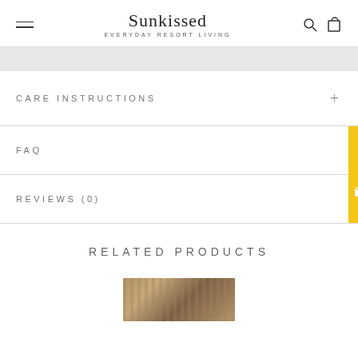Sunkissed EVERYDAY RESORT LIVING
CARE INSTRUCTIONS
FAQ
REVIEWS (0)
RELATED PRODUCTS
[Figure (photo): Partial product photo at bottom of page]